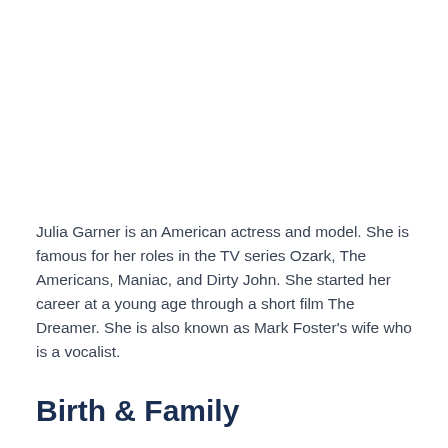Julia Garner is an American actress and model. She is famous for her roles in the TV series Ozark, The Americans, Maniac, and Dirty John. She started her career at a young age through a short film The Dreamer. She is also known as Mark Foster's wife who is a vocalist.
Birth & Family
Julia Garner was born on February 1, 1994 in The